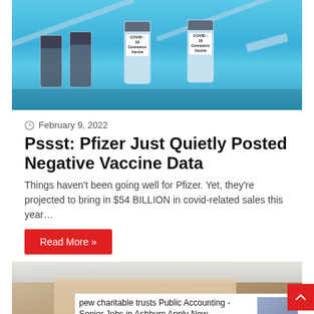[Figure (photo): COVID-19 coronavirus vaccine vials and syringes on a blue background]
February 9, 2022
Pssst: Pfizer Just Quietly Posted Negative Vaccine Data
Things haven't been going well for Pfizer. Yet, they're projected to bring in $54 BILLION in covid-related sales this year…
Read More »
[Figure (photo): Close-up photo of an elderly man's face, partially cropped]
pew charitable trusts Public Accounting - Senior Jobs in Ashburn Apply Now
jobble.com